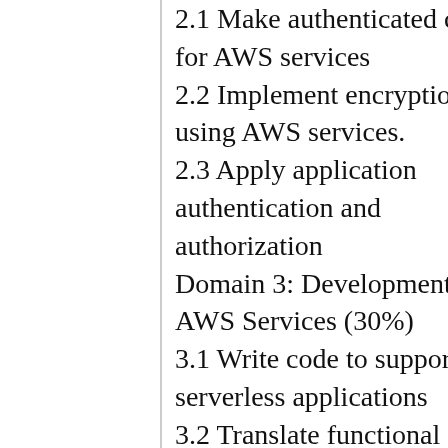2.1 Make authenticated calls for AWS services
2.2 Implement encryption using AWS services.
2.3 Apply application authentication and authorization
Domain 3: Development using AWS Services (30%)
3.1 Write code to support serverless applications
3.2 Translate functional requirements into an application design.
3.3 Implement application design into application code.
3.4 Use APIs, SDKs and AWS CLI to create code that